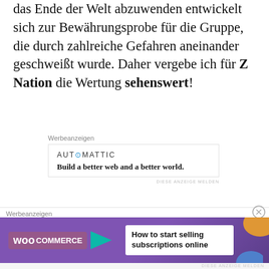das Ende der Welt abzuwenden entwickelt sich zur Bewährungsprobe für die Gruppe, die durch zahlreiche Gefahren aneinander geschweißt wurde. Daher vergebe ich für Z Nation die Wertung sehenswert!
[Figure (infographic): Werbeanzeigen block: Automattic logo with text 'Build a better web and a better world.' and 'DIESE ANZEIGE MELDEN' link]
Das wars von meiner Seite. Wir lesen uns im nächsten Beitrag!
DerStigler  /  29. Mai 2019  /  3 Kommentare
[Figure (infographic): Werbeanzeigen banner: WooCommerce ad - 'How to start selling subscriptions online' with close button]